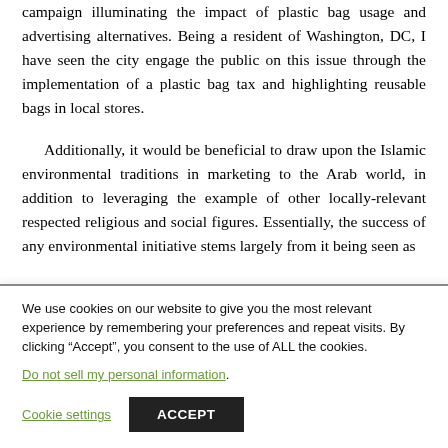campaign illuminating the impact of plastic bag usage and advertising alternatives. Being a resident of Washington, DC, I have seen the city engage the public on this issue through the implementation of a plastic bag tax and highlighting reusable bags in local stores.
Additionally, it would be beneficial to draw upon the Islamic environmental traditions in marketing to the Arab world, in addition to leveraging the example of other locally-relevant respected religious and social figures. Essentially, the success of any environmental initiative stems largely from it being seen as
We use cookies on our website to give you the most relevant experience by remembering your preferences and repeat visits. By clicking “Accept”, you consent to the use of ALL the cookies. Do not sell my personal information.